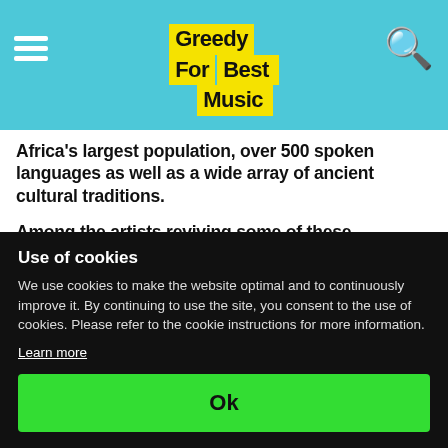Greedy For Best Music
Africa’s largest population, over 500 spoken languages as well as a wide array of ancient cultural traditions.
Among the artists reviving some of these traditions in the musical sense is Lágbájá. Since his emergence in the early 90s, the internationally acclaimed, award-winning Nigerian Afropop singer/saxophonist has been among the nation’s most audible and […]
→ READ MORE
Use of cookies
We use cookies to make the website optimal and to continuously improve it. By continuing to use the site, you consent to the use of cookies. Please refer to the cookie instructions for more information.
Learn more
Ok